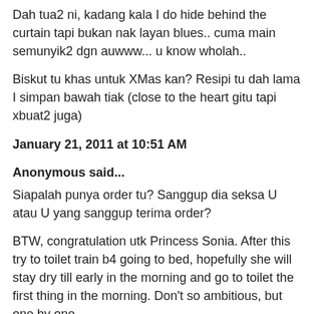Dah tua2 ni, kadang kala I do hide behind the curtain tapi bukan nak layan blues.. cuma main semunyik2 dgn auwww... u know wholah..
Biskut tu khas untuk XMas kan? Resipi tu dah lama I simpan bawah tiak (close to the heart gitu tapi xbuat2 juga)
January 21, 2011 at 10:51 AM
Anonymous said...
Siapalah punya order tu? Sanggup dia seksa U atau U yang sanggup terima order?
BTW, congratulation utk Princess Sonia. After this try to toilet train b4 going to bed, hopefully she will stay dry till early in the morning and go to toilet the first thing in the morning. Don't so ambitious, but one by one.
lepas ni Emak & bapak dia save duit lah dari membeli diapers. Ngeee
Melatie